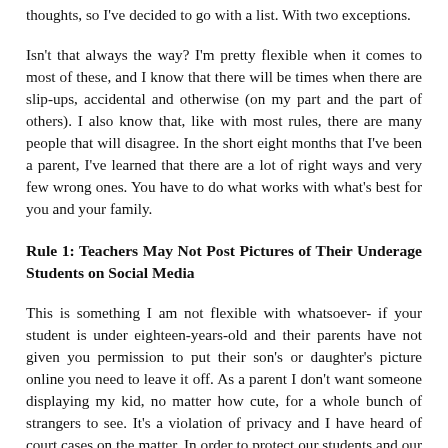thoughts, so I've decided to go with a list. With two exceptions.
Isn't that always the way? I'm pretty flexible when it comes to most of these, and I know that there will be times when there are slip-ups, accidental and otherwise (on my part and the part of others). I also know that, like with most rules, there are many people that will disagree. In the short eight months that I've been a parent, I've learned that there are a lot of right ways and very few wrong ones. You have to do what works with what's best for you and your family.
Rule 1: Teachers May Not Post Pictures of Their Underage Students on Social Media
This is something I am not flexible with whatsoever- if your student is under eighteen-years-old and their parents have not given you permission to put their son's or daughter's picture online you need to leave it off. As a parent I don't want someone displaying my kid, no matter how cute, for a whole bunch of strangers to see. It's a violation of privacy and I have heard of court cases on the matter. In order to protect our students and our professional integrity you